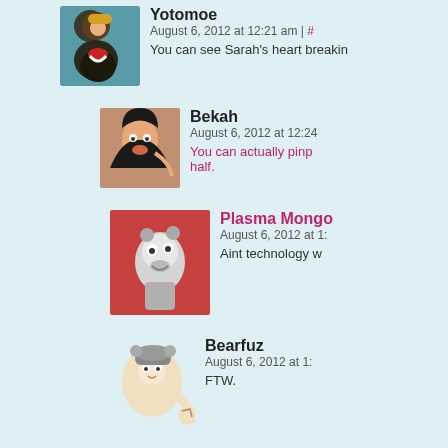Yotomoe
August 6, 2012 at 12:21 am | #
You can see Sarah's heart breakin
Bekah
August 6, 2012 at 12:24
You can actually pinp... half.
Plasma Mongo
August 6, 2012 at 1:
Aint technology w
Bearfuz
August 6, 2012 at 1:
FTW.
Yotomoe
August 6, 2012 at 12:26 am | #